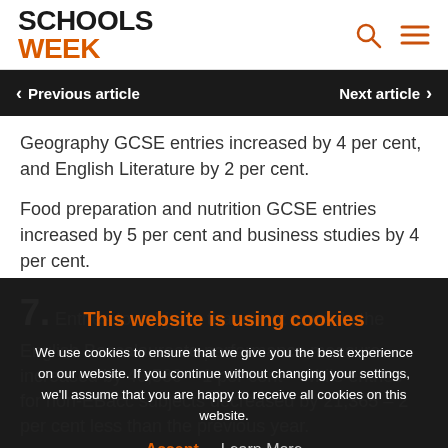SCHOOLS WEEK
Previous article  Next article
Geography GCSE entries increased by 4 per cent, and English Literature by 2 per cent.
Food preparation and nutrition GCSE entries increased by 5 per cent and business studies by 4 per cent.
This website is using cookies
We use cookies to ensure that we give you the best experience on our website. If you continue without changing your settings, we'll assume that you are happy to receive all cookies on this website.
Accept   Learn More
7. Entries to subjects that count towards the English Baccalaureate performance measure increased by 40,580 – 1 per cent – while entries for non-EBacc subjects decreased by 21,365 – 2 per cent less than the previous year.